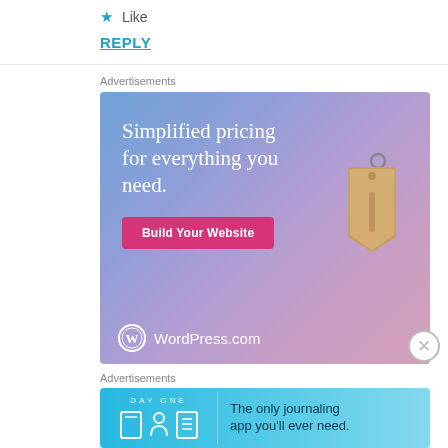★ Like
REPLY
Advertisements
[Figure (illustration): WordPress.com advertisement banner with gradient blue-purple background, text 'Simplified pricing for everything you need.', a pink 'Build Your Website' button, a price tag illustration, and WordPress.com logo at bottom left.]
Advertisements
[Figure (illustration): Day One journaling app advertisement banner with light blue background, DAY ONE branding with icons, and text 'The only journaling app you'll ever need.']